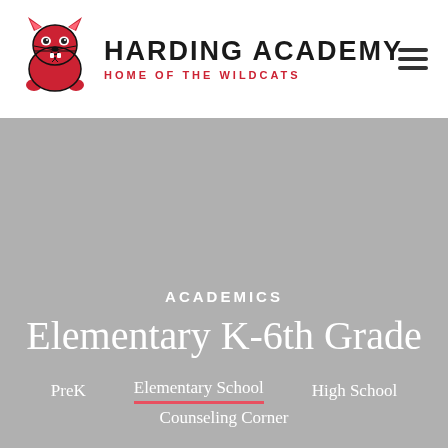[Figure (logo): Harding Academy Wildcat mascot logo in red with black outline, facing forward snarling]
HARDING ACADEMY
HOME OF THE WILDCATS
[Figure (illustration): Hamburger menu icon (three horizontal lines)]
ACADEMICS
Elementary K-6th Grade
Building Friendships, Love of God, and Love of Others
PreK
Elementary School
High School
Counseling Corner